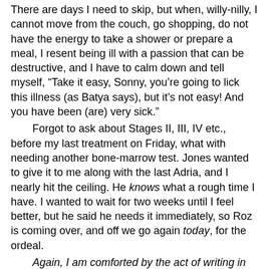There are days I need to skip, but when, willy-nilly, I cannot move from the couch, go shopping, do not have the energy to take a shower or prepare a meal, I resent being ill with a passion that can be destructive, and I have to calm down and tell myself, “Take it easy, Sonny, you’re going to lick this illness (as Batya says), but it’s not easy! And you have been (are) very sick.”
Forgot to ask about Stages II, III, IV etc., before my last treatment on Friday, what with needing another bone-marrow test. Jones wanted to give it to me along with the last Adria, and I nearly hit the ceiling. He knows what a rough time I have. I wanted to wait for two weeks until I feel better, but he said he needs it immediately, so Roz is coming over, and off we go again today, for the ordeal.
Again, I am comforted by the act of writing in this precious treasure chest of my present, back to past, and then ahead to the future.
Wednesday, May Eighteenth—9:00 a.m.
Mom and Dad are taking over the apartment and getting into their usual trouble! When we came in from the bone-